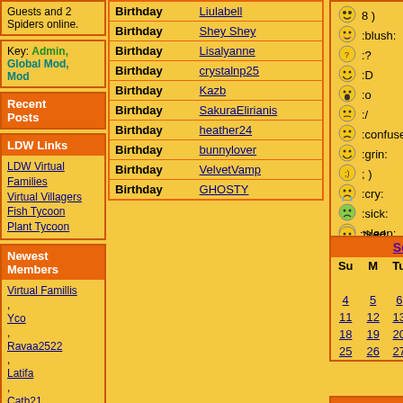Guests and 2 Spiders online.
Key: Admin, Global Mod, Mod
Recent Posts
LDW Links
LDW Virtual Families
Virtual Villagers
Fish Tycoon
Plant Tycoon
Newest Members
Virtual Famillis, Yco, Ravaa2522, Latifa, Cath21
30662
| Event | User |
| --- | --- |
| Birthday | Liulabell |
| Birthday | Shey Shey |
| Birthday | Lisalyanne |
| Birthday | crystalnp25 |
| Birthday | Kazb |
| Birthday | SakuraElirianis |
| Birthday | heather24 |
| Birthday | bunnylover |
| Birthday | VelvetVamp |
| Birthday | GHOSTY |
[Figure (other): Emoticon legend with smiley face icons and text codes: 8) :blush: :? :D :o :/ :confused: :grin: ;) :cry: :sick: :sleep: :tired: :whistle:]
| Su | M | Tu | W | Th | F | Sa |
| --- | --- | --- | --- | --- | --- | --- |
|  |  |  |  | 1 | 2 | 3 |
| 4 | 5 | 6 | 7 | 8 | 9 | 10 |
| 11 | 12 | 13 | 14 | 15 | 16 | 17 |
| 18 | 19 | 20 | 21 | 22 | 23 | 24 |
| 25 | 26 | 27 | 28 | 29 | 30 |  |
Arthur on Twitter